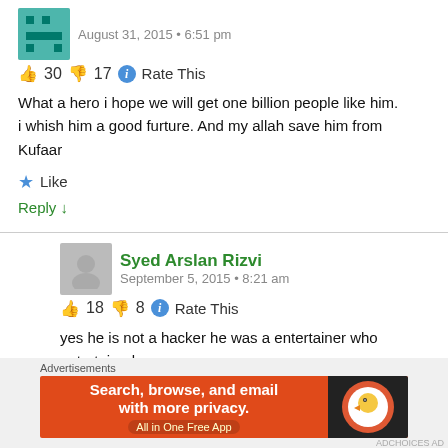August 31, 2015 • 6:51 pm
👍 30 👎 17 ℹ Rate This
What a hero i hope we will get one billion people like him. i whish him a good furture. And my allah save him from Kufaar
★ Like
Reply ↓
Syed Arslan Rizvi
September 5, 2015 • 8:21 am
👍 18 👎 8 ℹ Rate This
yes he is not a hacker he was a entertainer who entertained thousands or families we love his sooo much he is my hero i wish US to hand me instead of him cuz world need him.
Advertisements
[Figure (infographic): DuckDuckGo advertisement banner: 'Search, browse, and email with more privacy. All in One Free App' with DuckDuckGo logo on dark background]